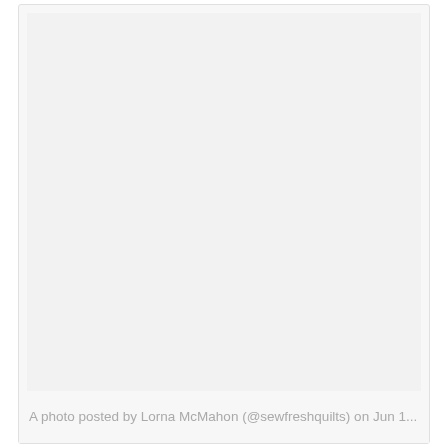[Figure (photo): A large light gray placeholder photo area, nearly filling the card, with a slightly off-white background.]
A photo posted by Lorna McMahon (@sewfreshquilts) on Jun 1...